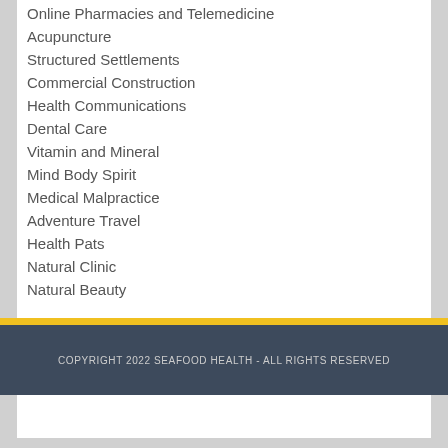Online Pharmacies and Telemedicine
Acupuncture
Structured Settlements
Commercial Construction
Health Communications
Dental Care
Vitamin and Mineral
Mind Body Spirit
Medical Malpractice
Adventure Travel
Health Pats
Natural Clinic
Natural Beauty
COPYRIGHT 2022 SEAFOOD HEALTH - ALL RIGHTS RESERVED